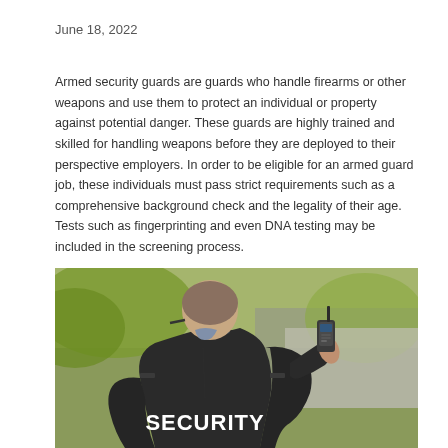June 18, 2022
Armed security guards are guards who handle firearms or other weapons and use them to protect an individual or property against potential danger. These guards are highly trained and skilled for handling weapons before they are deployed to their perspective employers. In order to be eligible for an armed guard job, these individuals must pass strict requirements such as a comprehensive background check and the legality of their age. Tests such as fingerprinting and even DNA testing may be included in the screening process.
[Figure (photo): Security guard viewed from behind, wearing a black jacket with 'SECURITY' written on the back, holding a walkie-talkie radio up to speak, with a blurred green and grey outdoor background.]